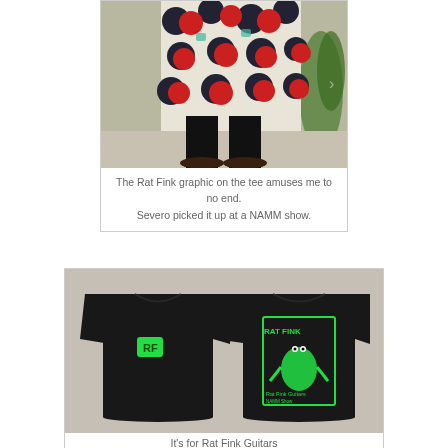[Figure (photo): Lower half of a person wearing a floral patterned dress (red and dark circular print on light background), black tights/stockings, and dark brown loafers. Standing in front of a green/yellow wall with a plant visible at right.]
The Rat Fink graphic on the tee amuses me to no end.
Severo picked it up at a NAMM show.
[Figure (photo): Two views of a black t-shirt laid flat on a light background. Left image shows the front of the shirt with a small green 'RF' (Rat Fink) logo on the chest. Right image shows the back with a larger green Rat Fink Guitars graphic/poster design.]
It's for Rat Fink Guitars